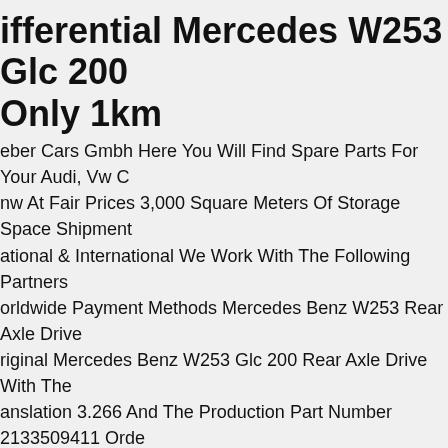ifferential Mercedes W253 Glc 200 Only 1km
eber Cars Gmbh Here You Will Find Spare Parts For Your Audi, Vw C nw At Fair Prices 3,000 Square Meters Of Storage Space Shipment ational & International We Work With The Following Partners orldwide Payment Methods Mercedes Benz W253 Rear Axle Drive riginal Mercedes Benz W253 Glc 200 Rear Axle Drive With The anslation 3.266 And The Production Part Number 2133509411 Orde rt Number A2133507500 The Transmission Is From A Vehicle With A ileage Of Only 1 Km. Please Compare The Part Number Before urchasing And, If Possible, Also The Equipment Data! The Article Is sed In The Following Models C253342 Scope Of Delivery 1x Rear Axle ifferential A 213 350 75 00 La.-nr.x Rear Axle Differential (-aw-).
Inch Rims Mercedes Gla Glb 35 45 Amg H247 X247 Winter Tires inter Wheels. Tire Manufacturer Pirelli P Zero Winter Winter Tires o1. Alloy Rims 8.0 X 19 Et 49. Condition The Item Is In Very Good ondition, The Rims Can Occasionally Show Minimal Signs Of Wear, o Photos.